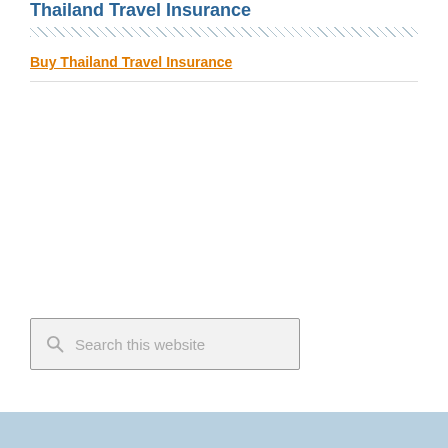Thailand Travel Insurance
Buy Thailand Travel Insurance
[Figure (other): Search box with magnifying glass icon and placeholder text 'Search this website']